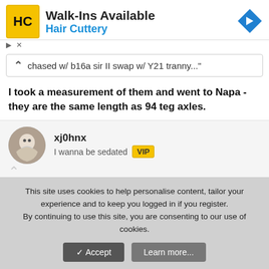[Figure (other): Hair Cuttery advertisement banner with logo, 'Walk-Ins Available' headline, and navigation arrow icon]
chased w/ b16a sir II swap w/ Y21 tranny..."
I took a measurement of them and went to Napa - they are the same length as 94 teg axles.
xj0hnx
I wanna be sedated  VIP
Jul 7, 2005   #6
They should be fitting fine.
This site uses cookies to help personalise content, tailor your experience and to keep you logged in if you register.
By continuing to use this site, you are consenting to our use of cookies.